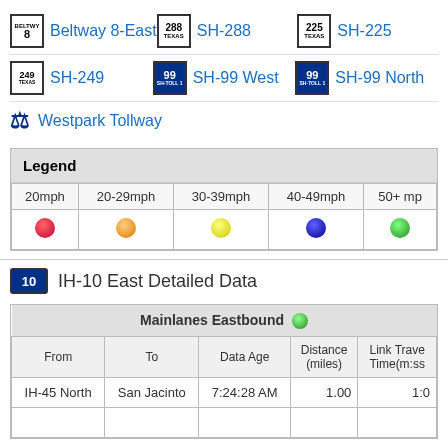Beltway 8-East
SH-288
SH-225
SH-249
SH-99 West
SH-99 North
Westpark Tollway
| Legend |  |  |  |  |
| --- | --- | --- | --- | --- |
| 20mph | 20-29mph | 30-39mph | 40-49mph | 50+ mph |
| ●(red) | ●(orange) | ●(yellow) | ●(blue) | ●(green) |
IH-10 East Detailed Data
| Mainlanes Eastbound |
| --- |
| From | To | Data Age | Distance (miles) | Link Travel Time(m:ss) |
| IH-45 North | San Jacinto | 7:24:28 AM | 1.00 | 1:0 |